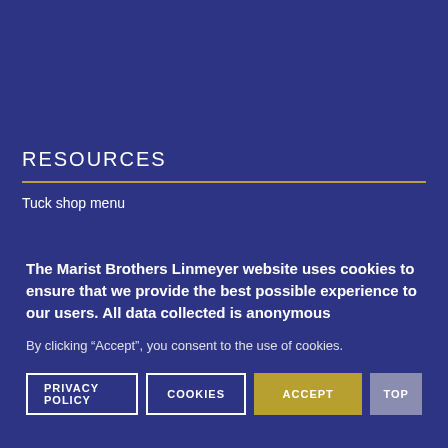RESOURCES
Tuck shop menu
The Marist Brothers Linmeyer website uses cookies to ensure that we provide the best possible experience to our users. All data collected is anonymous
By clicking “Accept”, you consent to the use of cookies.
PRIVACY POLICY   COOKIES   ACCEPT   TOP